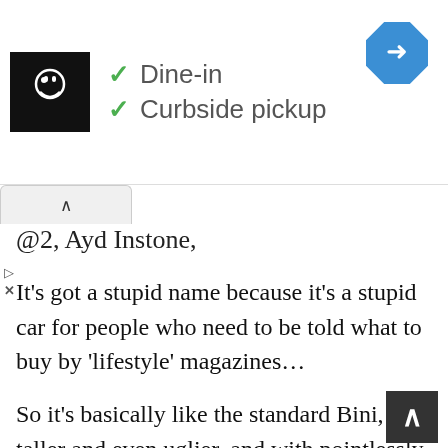[Figure (screenshot): Advertisement banner showing a restaurant logo (chef icon on black background), green checkmarks next to 'Dine-in' and 'Curbside pickup' text, a blue diamond navigation icon in the top right, and ad controls (play/close) on the left side.]
@2, Ayd Instone,
It’s got a stupid name because it’s a stupid car for people who need to be told what to buy by ‘lifestyle’ magazines…
So it’s basically like the standard Bini, but taller and even uglier, and with pointlessly slanty rear windows so the sprogs can’t see out of it…
It’s like a more exclusive Golf Plus Coupe